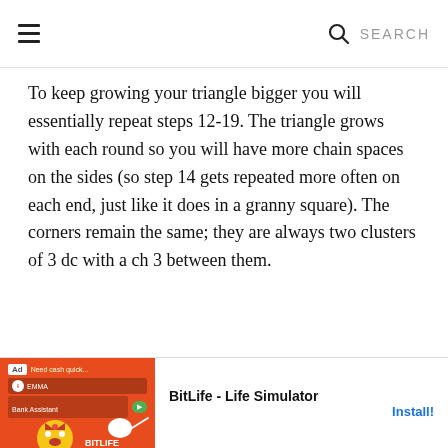☰  SEARCH
To keep growing your triangle bigger you will essentially repeat steps 12-19. The triangle grows with each round so you will have more chain spaces on the sides (so step 14 gets repeated more often on each end, just like it does in a granny square). The corners remain the same; they are always two clusters of 3 dc with a ch 3 between them.
[Figure (other): Advertisement banner for BitLife - Life Simulator app. Shows a red banner on the left with an 'Ad' label, game mascot (yellow emoji face with red bow), and a sperm icon. Right side shows app name 'BitLife - Life Simulator' and an 'Install!' button.]